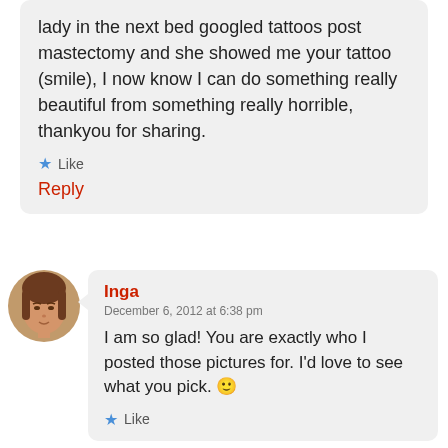lady in the next bed googled tattoos post mastectomy and she showed me your tattoo (smile), I now know I can do something really beautiful from something really horrible, thankyou for sharing.
★ Like
Reply
[Figure (photo): Circular avatar photo of a woman with brown hair]
Inga
December 6, 2012 at 6:38 pm
I am so glad! You are exactly who I posted those pictures for. I'd love to see what you pick. 🙂
★ Like